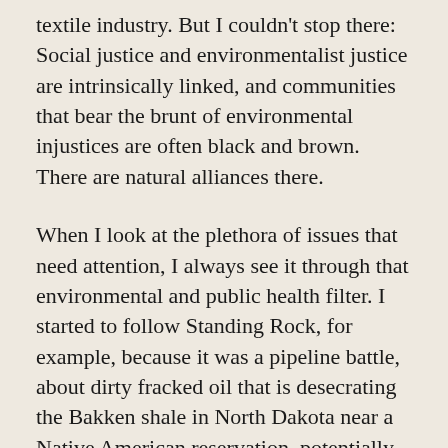textile industry. But I couldn't stop there: Social justice and environmentalist justice are intrinsically linked, and communities that bear the brunt of environmental injustices are often black and brown. There are natural alliances there.
When I look at the plethora of issues that need attention, I always see it through that environmental and public health filter. I started to follow Standing Rock, for example, because it was a pipeline battle, about dirty fracked oil that is desecrating the Bakken shale in North Dakota near a Native American reservation, potentially contaminating the water.
In terms of priorities: You can't do everything, and there are people that feel as passionately about any